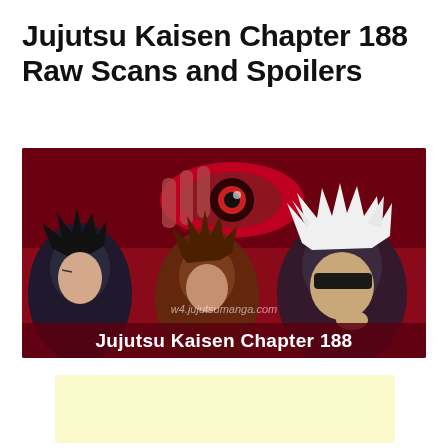Jujutsu Kaisen Chapter 188 Raw Scans and Spoilers
[Figure (illustration): Manga promotional image for Jujutsu Kaisen Chapter 188 showing three characters against a dark red background. The left character has black spiky hair, the center character has brown spiky hair, and the right character has distinctive white spiky hair and a black blindfold. A large eye is visible in the upper center. A watermark reads 'w4.jujutsumanga.com'. At the bottom in bold white text: 'Jujutsu Kaisen Chapter 188']
[Figure (other): Light yellow/cream colored advertisement placeholder block]